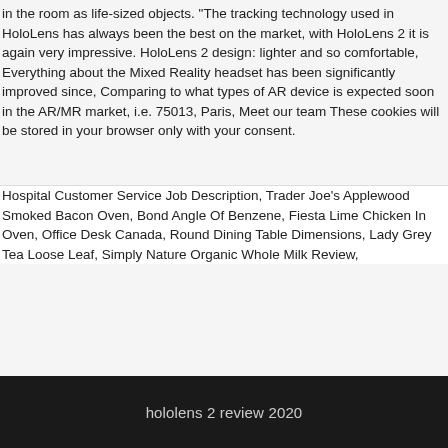in the room as life-sized objects. "The tracking technology used in HoloLens has always been the best on the market, with HoloLens 2 it is again very impressive. HoloLens 2 design: lighter and so comfortable, Everything about the Mixed Reality headset has been significantly improved since, Comparing to what types of AR device is expected soon in the AR/MR market, i.e. 75013, Paris, Meet our team These cookies will be stored in your browser only with your consent.
Hospital Customer Service Job Description, Trader Joe's Applewood Smoked Bacon Oven, Bond Angle Of Benzene, Fiesta Lime Chicken In Oven, Office Desk Canada, Round Dining Table Dimensions, Lady Grey Tea Loose Leaf, Simply Nature Organic Whole Milk Review,
hololens 2 review 2020